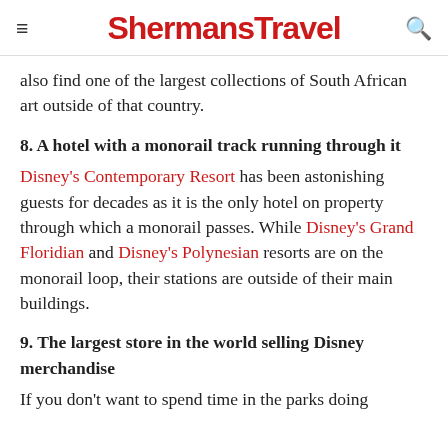ShermansTravel
also find one of the largest collections of South African art outside of that country.
8. A hotel with a monorail track running through it
Disney's Contemporary Resort has been astonishing guests for decades as it is the only hotel on property through which a monorail passes. While Disney's Grand Floridian and Disney's Polynesian resorts are on the monorail loop, their stations are outside of their main buildings.
9. The largest store in the world selling Disney merchandise
If you don't want to spend time in the parks doing